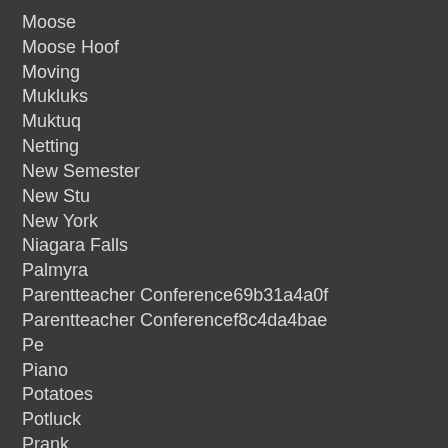Moose
Moose Hoof
Moving
Mukluks
Muktuq
Netting
New Semester
New Stu
New York
Niagara Falls
Palmyra
Parentteacher Conference69b31a4a0f
Parentteacher Conferencef8c4da4bae
Pe
Piano
Potatoes
Potluck
Prank
Praxis
Principal